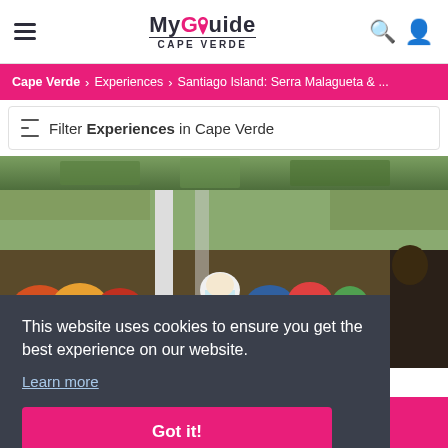My Guide Cape Verde
Cape Verde > Experiences > Santiago Island: Serra Malagueta & ...
Filter Experiences in Cape Verde
[Figure (photo): Top portion of an outdoor scene with green foliage]
[Figure (photo): Market scene in Cape Verde with people in colorful clothing]
This website uses cookies to ensure you get the best experience on our website.
Learn more
Got it!